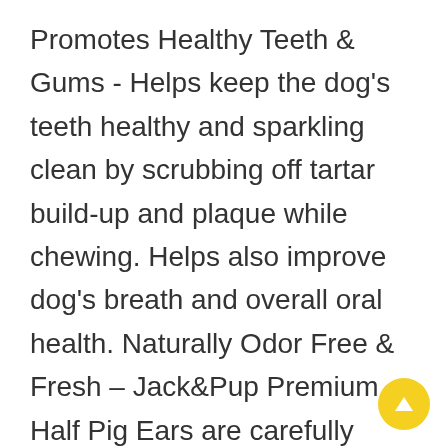Promotes Healthy Teeth & Gums - Helps keep the dog's teeth healthy and sparkling clean by scrubbing off tartar build-up and plaque while chewing. Helps also improve dog's breath and overall oral health. Naturally Odor Free & Fresh – Jack&Pup Premium Half Pig Ears are carefully prepared by boiling and then dried in a slow process, effectively locking in the natural rich flavor that dogs find irresistible. At the same time, the propriety process naturally eliminates all odors, without the use of any additives or chemicals. Stays fresh longer without any